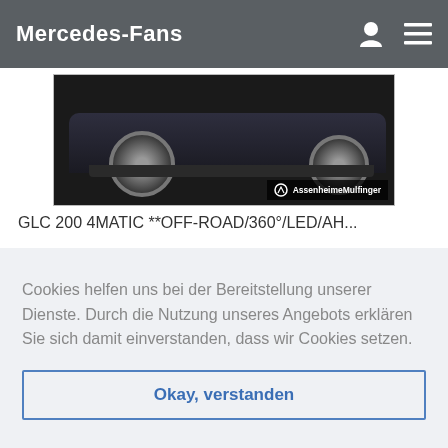Mercedes-Fans
[Figure (photo): Car rear/wheel view with AssenheimeMulfinger dealer badge, dark background]
GLC 200 4MATIC **OFF-ROAD/360°/LED/AH...
[Figure (photo): Partially visible second car listing image strip]
Cookies helfen uns bei der Bereitstellung unserer Dienste. Durch die Nutzung unseres Angebots erklären Sie sich damit einverstanden, dass wir Cookies setzen.
Okay, verstanden
GLC 220 d 4MATIC **AMG/192/Night/AHK/...